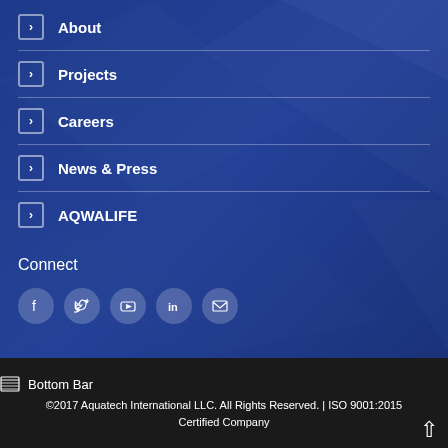About
Projects
Careers
News & Press
AQWALIFE
Connect
[Figure (infographic): Social media icons: Facebook, Twitter, YouTube, LinkedIn, Email]
Bottom Bar
©2017 Aquatech International LLC. All Rights Reserved. | ISO 9001:2015 Certified Company